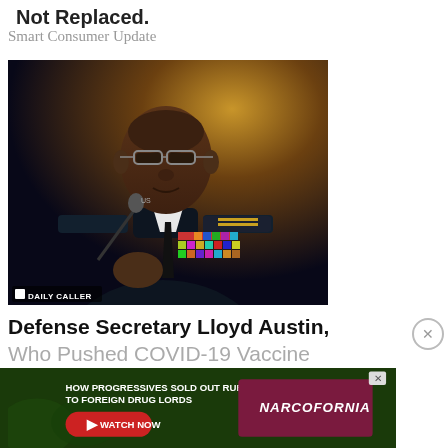Not Replaced.
Smart Consumer Update
[Figure (photo): A military officer in dark uniform with medals and ribbons, speaking or testifying, with a microphone visible. A 'DAILY CALLER' watermark appears at the bottom left of the image.]
Defense Secretary Lloyd Austin, Who Pushed COVID-19 Vaccine Mandates For Military, Tests Posi...
[Figure (screenshot): Advertisement banner: 'HOW PROGRESSIVES SOLD OUT RURAL TOWNS TO FOREIGN DRUG LORDS' with a NARCOFORNIA logo and a red WATCH NOW button.]